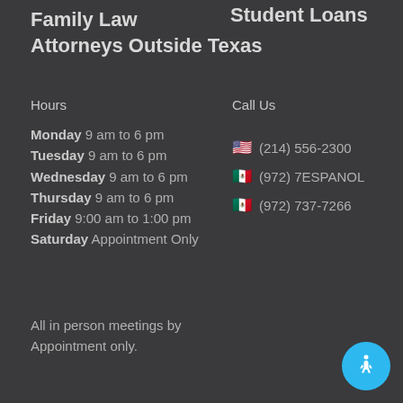Family Law Attorneys Outside Texas
Student Loans
Hours
Monday 9 am to 6 pm
Tuesday 9 am to 6 pm
Wednesday 9 am to 6 pm
Thursday 9 am to 6 pm
Friday 9:00 am to 1:00 pm
Saturday Appointment Only
Call Us
(214) 556-2300
(972) 7ESPANOL
(972) 737-7266
All in person meetings by Appointment only.